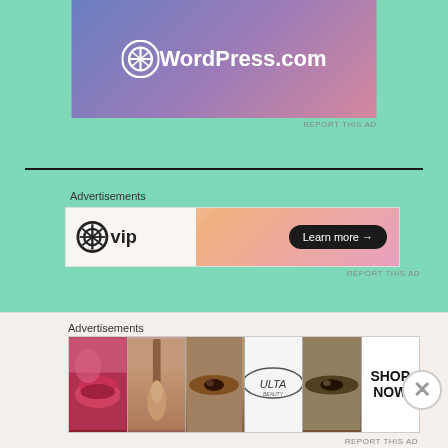[Figure (screenshot): WordPress.com advertisement banner with gradient blue-pink background and WordPress logo]
REPORT THIS AD
Advertisements
[Figure (screenshot): WordPress VIP advertisement banner with warm gradient background, WordPress VIP logo on white left panel, and 'Learn more →' dark button on right]
REPORT THIS AD
Advertisements
Advertisements
[Figure (screenshot): Ulta Beauty advertisement showing makeup product imagery including lips, brush, eyes, Ulta logo, smoky eyes, with 'SHOP NOW' text on right]
REPORT THIS AD